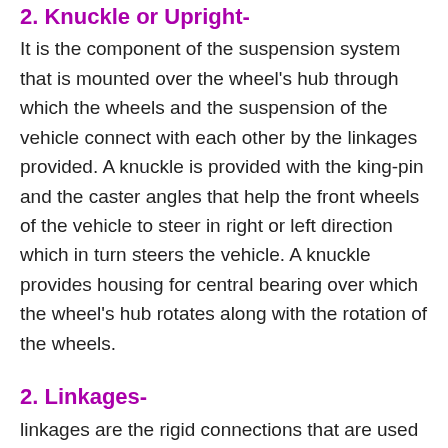2. Knuckle or Upright-
It is the component of the suspension system that is mounted over the wheel's hub through which the wheels and the suspension of the vehicle connect with each other by the linkages provided. A knuckle is provided with the king-pin and the caster angles that help the front wheels of the vehicle to steer in right or left direction which in turn steers the vehicle. A knuckle provides housing for central bearing over which the wheel's hub rotates along with the rotation of the wheels.
2. Linkages-
linkages are the rigid connections that are used in a suspension system to connect the main frame of the vehicle with the knuckle of the wheels through